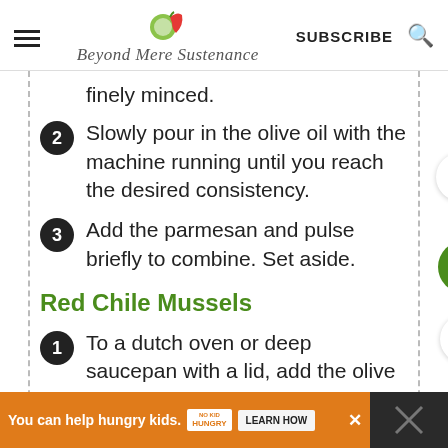Beyond Mere Sustenance | SUBSCRIBE
finely minced.
2 Slowly pour in the olive oil with the machine running until you reach the desired consistency.
3 Add the parmesan and pulse briefly to combine. Set aside.
Red Chile Mussels
1 To a dutch oven or deep saucepan with a lid, add the olive oil, chopped onion, and garlic over medium-high heat.
You can help hungry kids. NO KID HUNGRY LEARN HOW